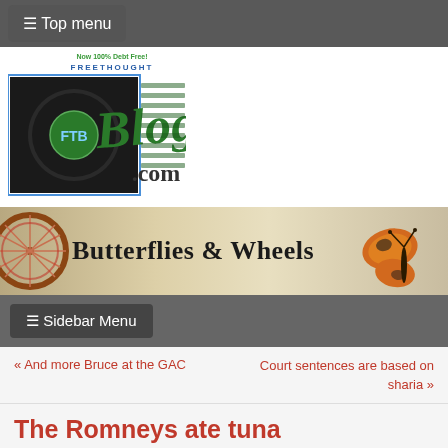☰ Top menu
[Figure (logo): Freethought Blogs (FTB) logo with text 'Now 100% Debt Free!' and FTB circular emblem]
[Figure (logo): Butterflies & Wheels banner with bicycle wheel on left, title text in center, monarch butterfly on right]
☰ Sidebar Menu
« And more Bruce at the GAC    Court sentences are based on sharia »
The Romneys ate tuna
I can only find it funny. There was an old joke about Martin Amis – that his first book was titled My Struggle. That should